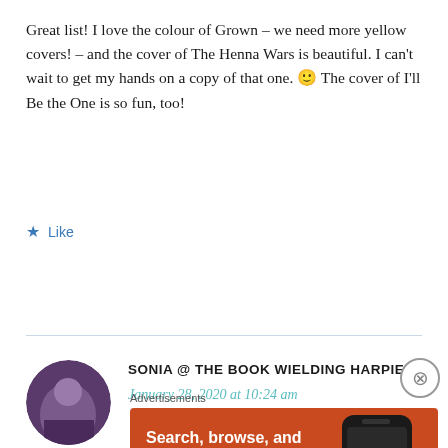Great list! I love the colour of Grown – we need more yellow covers! – and the cover of The Henna Wars is beautiful. I can't wait to get my hands on a copy of that one. 🙂 The cover of I'll Be the One is so fun, too!
★ Like
REPLY
SONIA @ THE BOOK WIELDING HARPIE
January 28, 2020 at 10:24 am
Advertisements
[Figure (screenshot): DuckDuckGo advertisement banner: orange/red background with text 'Search, browse, and email with more privacy. All in One Free App' and an image of a smartphone with DuckDuckGo logo]